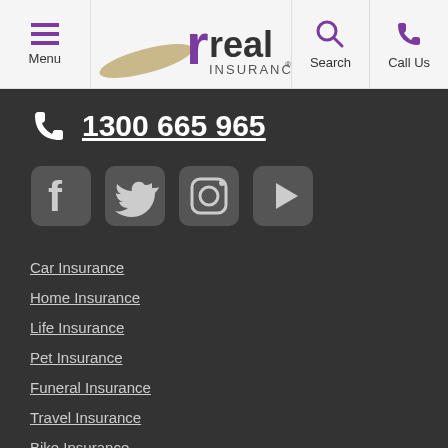[Figure (logo): Real Insurance logo with hamburger menu, search and call us buttons in the header navigation bar]
1300 665 965
[Figure (infographic): Social media icons: Facebook, Twitter, Instagram, YouTube]
Car Insurance
Home Insurance
Life Insurance
Pet Insurance
Funeral Insurance
Travel Insurance
Bike Insurance
Code of Practice
Grants